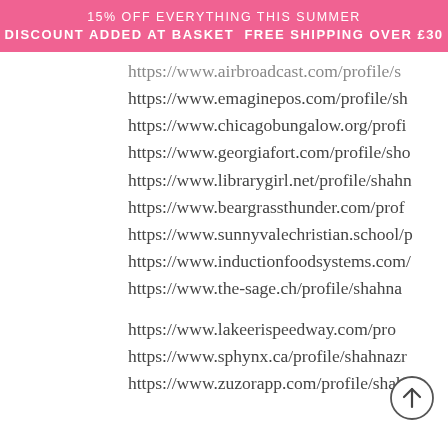15% OFF EVERYTHING THIS SUMMER
DISCOUNT ADDED AT BASKET FREE SHIPPING OVER £30
https://www.airbroadcast.com/profile/s
https://www.emaginepos.com/profile/sh
https://www.chicagobungalow.org/profi
https://www.georgiafort.com/profile/sho
https://www.librarygirl.net/profile/shahn
https://www.beargrassthunder.com/prof
https://www.sunnyvalechristian.school/p
https://www.inductionfoodsystems.com/
https://www.the-sage.ch/profile/shahna
https://www.lakeerispeedway.com/pro
https://www.sphynx.ca/profile/shahnazr
https://www.zuzorapp.com/profile/shah